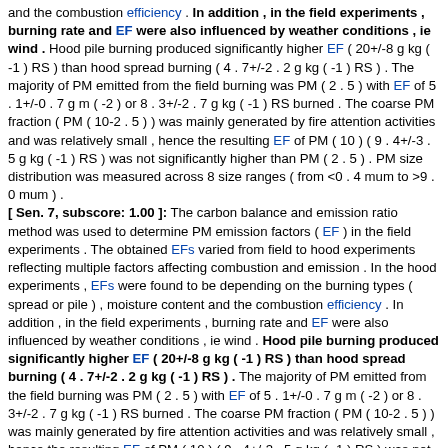and the combustion efficiency . In addition , in the field experiments , burning rate and EF were also influenced by weather conditions , ie wind . Hood pile burning produced significantly higher EF ( 20+/-8 g kg ( -1 ) RS ) than hood spread burning ( 4 . 7+/-2 . 2 g kg ( -1 ) RS ) . The majority of PM emitted from the field burning was PM ( 2 . 5 ) with EF of 5 . 1+/-0 . 7 g m ( -2 ) or 8 . 3+/-2 . 7 g kg ( -1 ) RS burned . The coarse PM fraction ( PM ( 10-2 . 5 ) ) was mainly generated by fire attention activities and was relatively small , hence the resulting EF of PM ( 10 ) ( 9 . 4+/-3 . 5 g kg ( -1 ) RS ) was not significantly higher than PM ( 2 . 5 ) . PM size distribution was measured across 8 size ranges ( from <0 . 4 mum to >9 . 0 mum ) . [ Sen. 7, subscore: 1.00 ]: The carbon balance and emission ratio method was used to determine PM emission factors ( EF ) in the field experiments . The obtained EFs varied from field to hood experiments reflecting multiple factors affecting combustion and emission . In the hood experiments , EFs were found to be depending on the burning types ( spread or pile ) , moisture content and the combustion efficiency . In addition , in the field experiments , burning rate and EF were also influenced by weather conditions , ie wind . Hood pile burning produced significantly higher EF ( 20+/-8 g kg ( -1 ) RS ) than hood spread burning ( 4 . 7+/-2 . 2 g kg ( -1 ) RS ) . The majority of PM emitted from the field burning was PM ( 2 . 5 ) with EF of 5 . 1+/-0 . 7 g m ( -2 ) or 8 . 3+/-2 . 7 g kg ( -1 ) RS burned . The coarse PM fraction ( PM ( 10-2 . 5 ) ) was mainly generated by fire attention activities and was relatively small , hence the resulting EF of PM ( 10 ) ( 9 . 4+/-3 . 5 g kg ( -1 ) RS ) was not significantly higher than PM ( 2 . 5 ) . PM size distribution was measured across 8 size ranges ( from <0 . 4 mum to >9 . 0 mum ) . The largest fractions of PM , EC and OC were associated with PM ( 1 . 1 ) . [ Sen. 8, subscore: 1.00 ]: The obtained EFs varied from field to hood